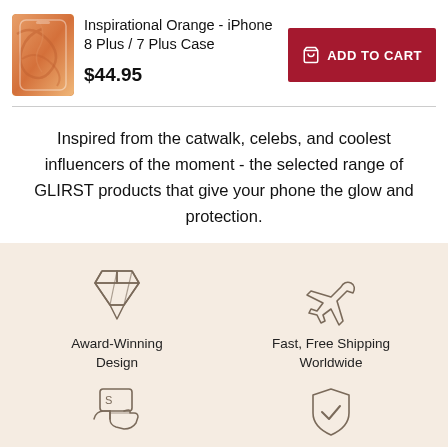[Figure (photo): Orange marble iPhone 8 Plus / 7 Plus case product image]
Inspirational Orange - iPhone 8 Plus / 7 Plus Case
$44.95
ADD TO CART
Inspired from the catwalk, celebs, and coolest influencers of the moment - the selected range of GLIRST products that give your phone the glow and protection.
[Figure (illustration): Diamond gem icon representing Award-Winning Design]
Award-Winning Design
[Figure (illustration): Airplane icon representing Fast, Free Shipping Worldwide]
Fast, Free Shipping Worldwide
[Figure (illustration): Hand with payment card icon at bottom left]
[Figure (illustration): Shield with checkmark icon at bottom right]